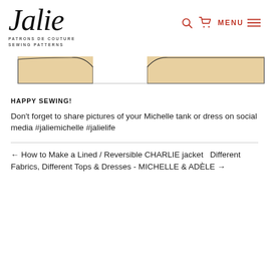[Figure (logo): Jalie logo — cursive script 'Jalie' with tagline 'PATRONS DE COUTURE / SEWING PATTERNS' below]
[Figure (illustration): Sewing pattern piece strip — beige/tan rectangular strip showing two flat sewing pattern pieces (curved neckline edges) on white background]
HAPPY SEWING!
Don't forget to share pictures of your Michelle tank or dress on social media #jaliemichelle #jalielife
← How to Make a Lined / Reversible CHARLIE jacket   Different Fabrics, Different Tops & Dresses - MICHELLE & ADÈLE →